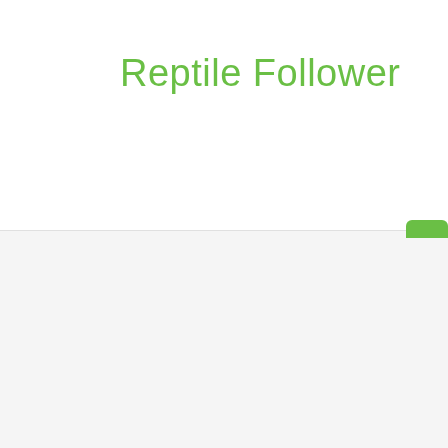Reptile Follower
[Figure (other): Green rounded rectangle button/icon in upper right of header]
Home → Archive: January, 2019
Archive
Monthly Archives: January 2019